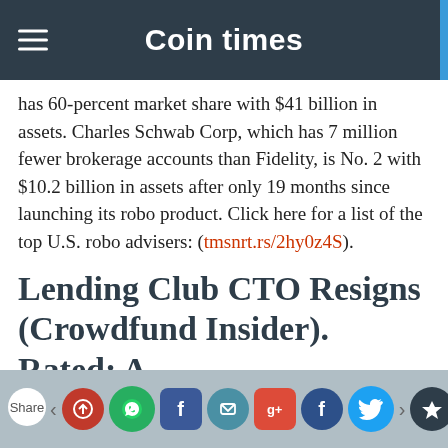Coin times
has 60-percent market share with $41 billion in assets. Charles Schwab Corp, which has 7 million fewer brokerage accounts than Fidelity, is No. 2 with $10.2 billion in assets after only 19 months since launching its robo product. Click here for a list of the top U.S. robo advisers: (tmsnrt.rs/2hy0z4S).
Lending Club CTO Resigns (Crowdfund Insider). Rated: A
Share | social icons row